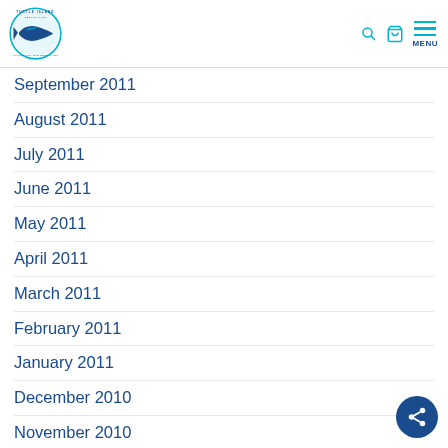Turtle Island Restoration Network — navigation header with logo, search, cart, and menu icons
September 2011
August 2011
July 2011
June 2011
May 2011
April 2011
March 2011
February 2011
January 2011
December 2010
November 2010